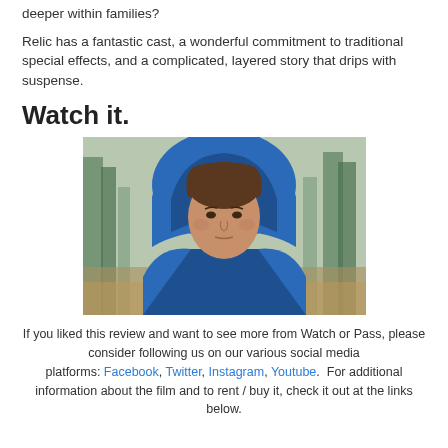deeper within families?
Relic has a fantastic cast, a wonderful commitment to traditional special effects, and a complicated, layered story that drips with suspense.
Watch it.
[Figure (photo): Woman wearing a blue hoodie jacket and red turtleneck, standing outdoors in a forested area, looking slightly off-camera with a serious expression.]
If you liked this review and want to see more from Watch or Pass, please consider following us on our various social media platforms: Facebook, Twitter, Instagram, Youtube.  For additional information about the film and to rent / buy it, check it out at the links below.